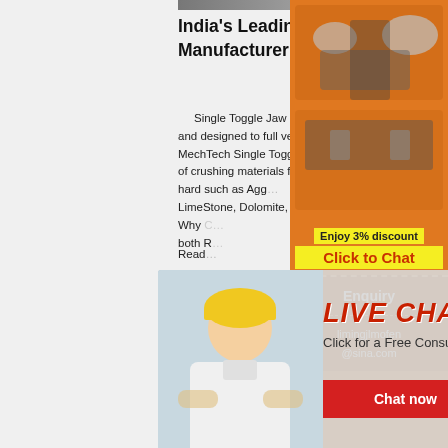[Figure (photo): Top banner image of crusher machinery]
India's Leading Crusher Manufacturer Supplier of ...
Single Toggle Jaw Crusher. With a robust build, and designed to full versatile applications, MechTech Single Toggle Jaw crushers are capable of crushing materials from soft, medium and very hard such as Agg... LimeStone, Dolomite, Bauxite, etc. With heav... Why c... both R...
Read...
[Figure (photo): Blue industrial crusher machine on construction site]
Used Products Archive - Page 2 of 3... Crushing, Screening ...
[Figure (photo): Right sidebar orange panel with crusher equipment images]
[Figure (infographic): Enjoy 3% discount - Click to Chat button in yellow and orange]
Enquiry
limingjlmofen@sina.com
[Figure (photo): Live Chat overlay with woman in hard hat, Chat now and Chat later buttons]